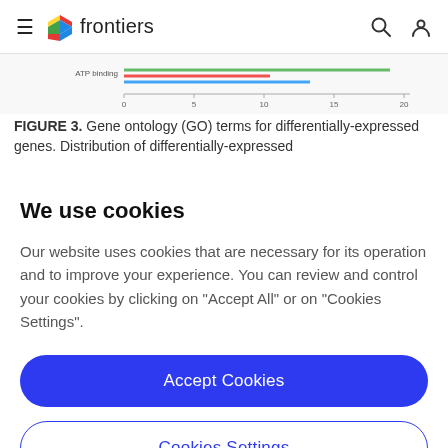frontiers
[Figure (continuous-plot): Partial view of a horizontal bar chart showing GO terms for differentially-expressed genes. A label 'ATP binding' is visible on the left with colored horizontal bars (green, red, blue) extending to the right. X-axis shows values 0, 5, 10, 15, 20, 25.]
FIGURE 3. Gene ontology (GO) terms for differentially-expressed genes. Distribution of differentially-expressed
We use cookies
Our website uses cookies that are necessary for its operation and to improve your experience. You can review and control your cookies by clicking on "Accept All" or on "Cookies Settings".